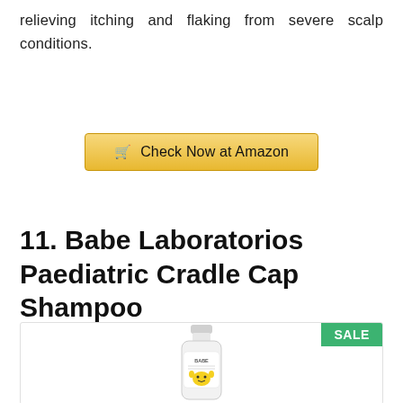relieving itching and flaking from severe scalp conditions.
[Figure (other): Button: Check Now at Amazon with shopping cart icon, golden/yellow background]
11. Babe Laboratorios Paediatric Cradle Cap Shampoo
[Figure (photo): Product photo of Babe Laboratorios Paediatric Cradle Cap Shampoo bottle, white bottle with yellow character, inside a bordered box with a green SALE badge in the top right corner]